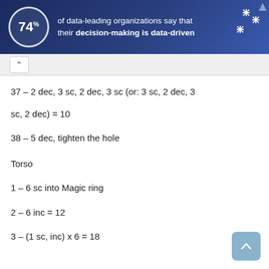[Figure (other): Advertisement banner with dark blue background showing '74%' statistic about data-driven decision-making organizations]
37 – 2 dec, 3 sc, 2 dec, 3 sc (or: 3 sc, 2 dec, 3 sc, 2 dec) = 10
38 – 5 dec, tighten the hole
Torso
1 – 6 sc into Magic ring
2 – 6 inc = 12
3 – (1 sc, inc) x 6 = 18